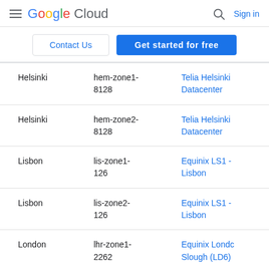Google Cloud  Sign in
Contact Us  Get started for free
| City | Zone | Datacenter |
| --- | --- | --- |
| Helsinki | hem-zone1-8128 | Telia Helsinki Datacenter |
| Helsinki | hem-zone2-8128 | Telia Helsinki Datacenter |
| Lisbon | lis-zone1-126 | Equinix LS1 - Lisbon |
| Lisbon | lis-zone2-126 | Equinix LS1 - Lisbon |
| London | lhr-zone1-2262 | Equinix London Slough (LD6) |
| London | lhr-zone2-2262 | Equinix London Slough (LD6) |